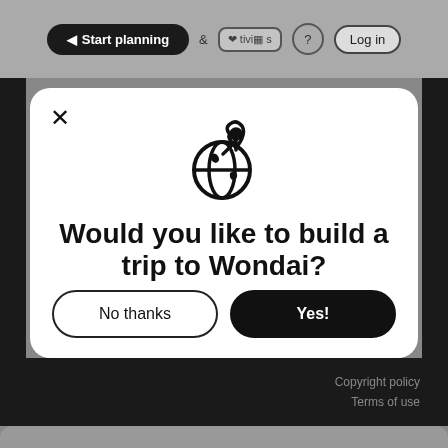Start planning   &   Activities   ?   Log in
[Figure (screenshot): Modal dialog with globe/location pin icon, bold text asking 'Would you like to build a trip to Wondai?' with 'No thanks' and 'Yes!' buttons]
Would you like to build a trip to Wondai?
Copyright policy   Terms of use